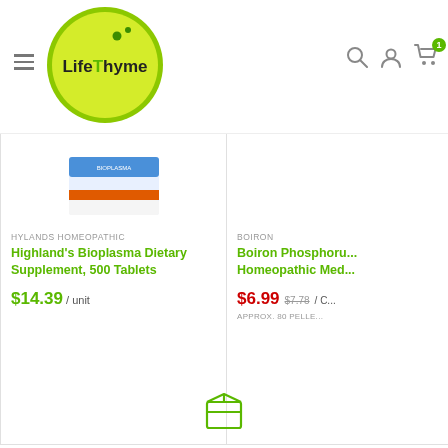[Figure (logo): LifeThyme logo — yellow-green circular badge with 'LifeThyme' text and two green dots]
[Figure (screenshot): Screenshot of LifeThyme e-commerce website showing navigation header with hamburger menu, logo, search, account, and cart icons]
HYLANDS HOMEOPATHIC
Highland's Bioplasma Dietary Supplement, 500 Tablets
$14.39 / unit
BOIRON
Boiron Phosphoru... Homeopathic Med...
$6.99  $7.78 / C...  APPROX. 80 PELLE...
[Figure (illustration): Small green box/package icon at bottom center]